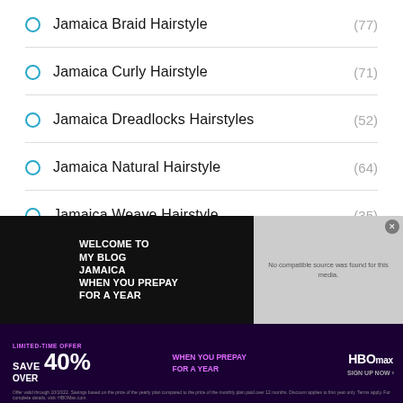Jamaica Braid Hairstyle (77)
Jamaica Curly Hairstyle (71)
Jamaica Dreadlocks Hairstyles (52)
Jamaica Natural Hairstyle (64)
Jamaica Weave Hairstyle (35)
[Figure (screenshot): HBO Max advertisement banner at the bottom: 'LIMITED-TIME OFFER SAVE OVER 40% WHEN YOU PREPAY FOR A YEAR'. Also shows a video overlay with 'No compatible source was found for this media.' message over a blog background.]